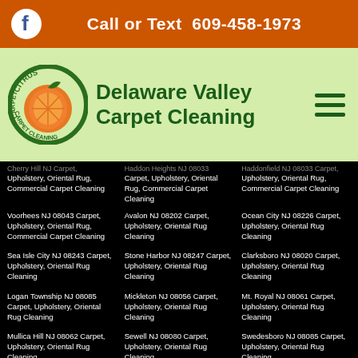Call or Text  609-458-1973
Delaware Valley Carpet Cleaning
Cherry Hill NJ Carpet, Upholstery, Oriental Rug, Commercial Carpet Cleaning
Haddon Heights NJ 08033 Carpet, Upholstery, Oriental Rug, Commercial Carpet Cleaning
Haddonfield NJ 08033 Carpet, Upholstery, Oriental Rug, Commercial Carpet Cleaning
Voorhees NJ 08043 Carpet, Upholstery, Oriental Rug, Commercial Carpet Cleaning
Avalon NJ 08202 Carpet, Upholstery, Oriental Rug Cleaning
Ocean City NJ 08226 Carpet, Upholstery, Oriental Rug Cleaning
Sea Isle City NJ 08243 Carpet, Upholstery, Oriental Rug Cleaning
Stone Harbor NJ 08247 Carpet, Upholstery, Oriental Rug Cleaning
Clarksboro NJ 08020 Carpet, Upholstery, Oriental Rug Cleaning
Logan Township NJ 08085 Carpet, Upholstery, Oriental Rug Cleaning
Mickleton NJ 08056 Carpet, Upholstery, Oriental Rug Cleaning
Mt. Royal NJ 08061 Carpet, Upholstery, Oriental Rug Cleaning
Mullica Hill NJ 08062 Carpet, Upholstery, Oriental Rug Cleaning
Sewell NJ 08080 Carpet, Upholstery, Oriental Rug Cleaning
Swedesboro NJ 08085 Carpet, Upholstery, Oriental Rug Cleaning
Washington Twp NJ Carpet, Upholstery Oriental Rug Cleaning
Cape May NJ 08204 Carpet, Upholstery, Oriental Rug Cleaning
Franklinville NJ 08322 Carpet, Upholstery, Oriental Rug, Commercial Carpet Cleaning
Hammonton NJ 08037 Carpet
Pitman NJ 08071 Carpet
Sicklerville NJ 08081 Carpet